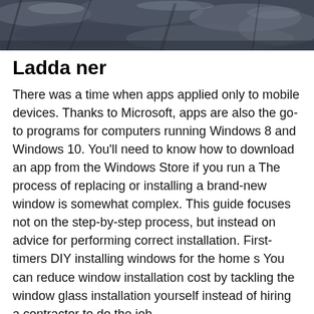[Figure (photo): A dark textured rocky surface photo at the top of the page]
Ladda ner
There was a time when apps applied only to mobile devices. Thanks to Microsoft, apps are also the go-to programs for computers running Windows 8 and Windows 10. You'll need to know how to download an app from the Windows Store if you run a The process of replacing or installing a brand-new window is somewhat complex. This guide focuses not on the step-by-step process, but instead on advice for performing correct installation. First-timers DIY installing windows for the home s You can reduce window installation cost by tackling the window glass installation yourself instead of hiring a contractor to do the job.